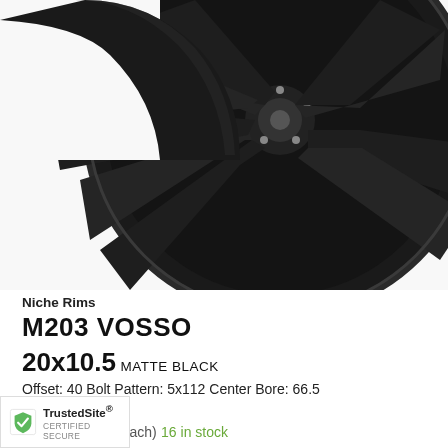[Figure (photo): Close-up photo of a matte black 5-spoke alloy wheel (Niche M203 Vosso) against a white background, showing the front face and partial side profile of the rim.]
Niche Rims
M203 VOSSO
20x10.5 MATTE BLACK
Offset: 40 Bolt Pattern: 5x112 Center Bore: 66.5
$421.00 (each) 16 in stock